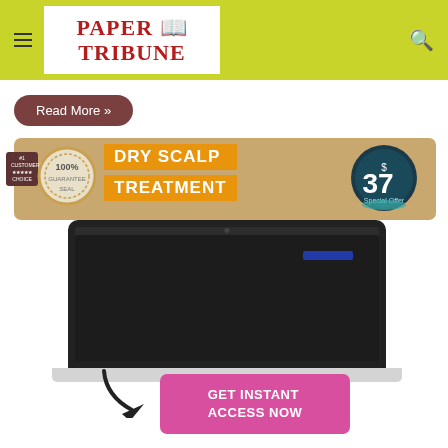PAPER TRIBUNE
Read More »
[Figure (advertisement): Advertisement banner for Dry Scalp Treatment at $37. Features a 100% guarantee seal on the left, orange text blocks reading DRY SCALP TREATMENT, and a teal price badge showing $37.]
[Figure (screenshot): Laptop computer with dark screen, displaying a webpage with a small blue highlighted element.]
[Figure (illustration): Arrow graphic pointing to a pink GET INSTANT ACCESS NOW button.]